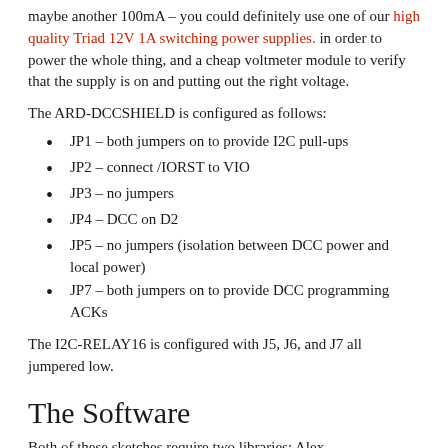maybe another 100mA – you could definitely use one of our high quality Triad 12V 1A switching power supplies. in order to power the whole thing, and a cheap voltmeter module to verify that the supply is on and putting out the right voltage.
The ARD-DCCSHIELD is configured as follows:
JP1 – both jumpers on to provide I2C pull-ups
JP2 – connect /IORST to VIO
JP3 – no jumpers
JP4 – DCC on D2
JP5 – no jumpers (isolation between DCC power and local power)
JP7 – both jumpers on to provide DCC programming ACKs
The I2C-RELAY16 is configured with J5, J6, and J7 all jumpered low.
The Software
Both of these sketches require two libraries: Alex